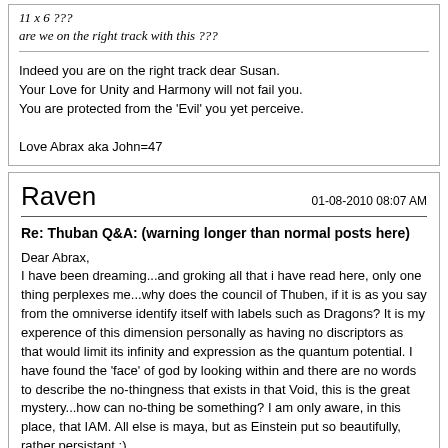11 x 6 ???
are we on the right track with this ???
Indeed you are on the right track dear Susan.
Your Love for Unity and Harmony will not fail you.
You are protected from the 'Evil' you yet perceive.

Love Abrax aka John=47
Raven   01-08-2010 08:07 AM
Re: Thuban Q&A: (warning longer than normal posts here)
Dear Abrax,
I have been dreaming...and groking all that i have read here, only one thing perplexes me...why does the council of Thuben, if it is as you say from the omniverse identify itself with labels such as Dragons? It is my experence of this dimension personally as having no discriptors as that would limit its infinity and expression as the quantum potential. I have found the 'face' of god by looking within and there are no words to describe the no-thingness that exists in that Void, this is the great mystery...how can no-thing be something? I am only aware, in this place, that IAM. All else is maya, but as Einstein put so beautifully, rather persistant :)
Sincerely, Raven